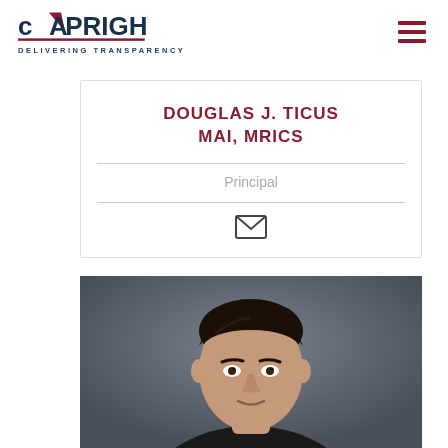CAPRIGHT — DELIVERING TRANSPARENCY
DOUGLAS J. TICUS MAI, MRICS
Principal
[Figure (photo): Professional headshot of Douglas J. Ticus, a man with dark hair wearing a suit, against a grey background]